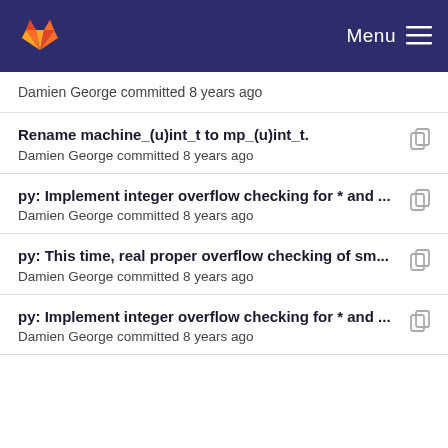GitLab — Menu
Damien George committed 8 years ago
Rename machine_(u)int_t to mp_(u)int_t. — Damien George committed 8 years ago
py: Implement integer overflow checking for * and ... — Damien George committed 8 years ago
py: This time, real proper overflow checking of sm... — Damien George committed 8 years ago
py: Implement integer overflow checking for * and ... — Damien George committed 8 years ago
Rename machine_(u)int_t to mp_(u)int_t. — Damien George committed 8 years ago